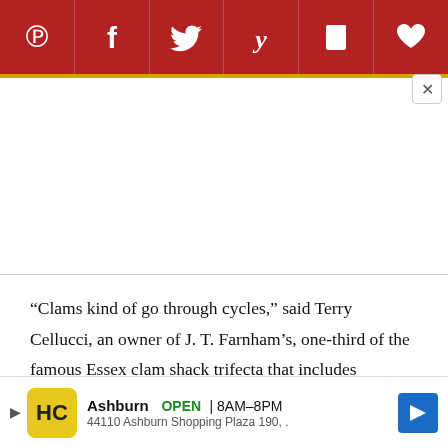[Figure (other): Social media sharing bar with icons for Pinterest, Facebook, Twitter, Yummly, Flipboard, and a heart/save button on a dark red background with gold bottom border]
“Clams kind of go through cycles,” said Terry Cellucci, an owner of J. T. Farnham’s, one-third of the famous Essex clam shack trifecta that includes Woodman’s and Essex Seafood. For years, she explained, smaller clams have been in vogue. “Right now that’s what our customers like, so that’s what we
[Figure (other): Advertisement banner: HC logo, Ashburn OPEN 8AM-8PM, 44110 Ashburn Shopping Plaza 190, with navigation arrow icon]